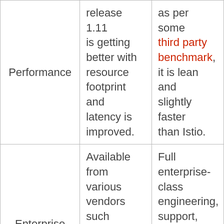| Performance | release 1.11 is getting better with resource footprint and latency is improved. | as per some third party benchmark, it is lean and slightly faster than Istio. |
| Enterprise Support | Available from various vendors such as AspenMesh, solo.io, and | Full enterprise-class engineering, support, and training available by Buoyant who developed |